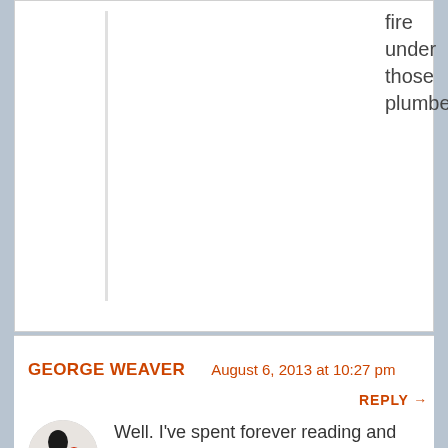fire under those plumbers!
GEORGE WEAVER   August 6, 2013 at 10:27 pm
REPLY →
[Figure (photo): Circular avatar image showing two small figurines or toys on a wooden surface, one dark colored and one red.]
Well. I've spent forever reading and looking at the photos (more than once). You've explained and illustrated the dog trot cabin better than I ever saw it explained.